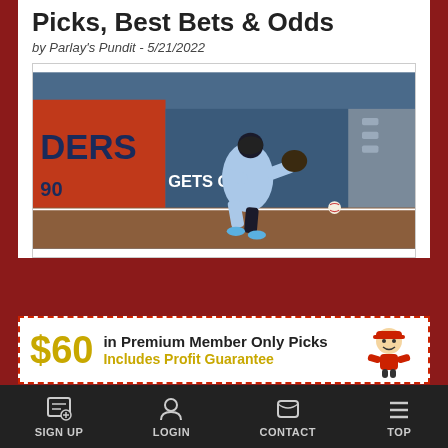Picks, Best Bets & Odds
by Parlay's Pundit - 5/21/2022
[Figure (photo): Baseball outfielder in light blue uniform reaching for a ball near the warning track, with stadium wall advertisements visible including 'GETS OLD' and 'DERS' signage]
[Figure (infographic): Advertisement banner: $60 in Premium Member Only Picks - Includes Profit Guarantee, with mascot character]
SIGN UP   LOGIN   CONTACT   TOP